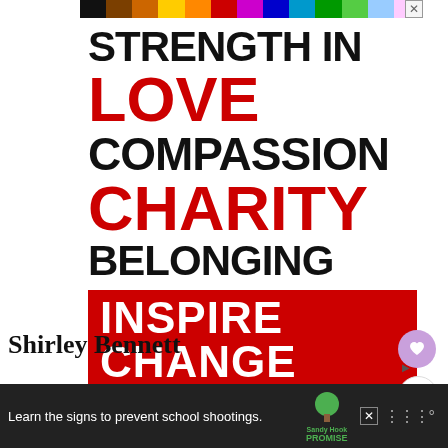[Figure (infographic): Advertisement: Rainbow colored bar at top, then large bold text reading STRENGTH IN LOVE COMPASSION CHARITY BELONGING with a red box INSPIRE CHANGE. Words LOVE and CHARITY are in red, others in black.]
SHIRLEY BENNETT
[Figure (infographic): Bottom advertisement banner: Learn the signs to prevent school shootings. Sandy Hook Promise logo. Close button. MW icon.]